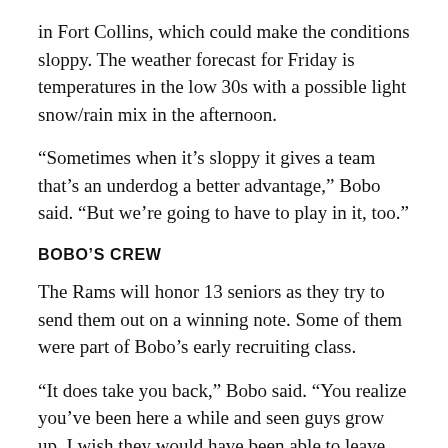in Fort Collins, which could make the conditions sloppy. The weather forecast for Friday is temperatures in the low 30s with a possible light snow/rain mix in the afternoon.
“Sometimes when it’s sloppy it gives a team that’s an underdog a better advantage,” Bobo said. “But we’re going to have to play in it, too.”
BOBO’S CREW
The Rams will honor 13 seniors as they try to send them out on a winning note. Some of them were part of Bobo’s early recruiting class.
“It does take you back,” Bobo said. “You realize you’ve been here a while and seen guys grow up. I wish they would have been able to leave with a chance to play for a championship.”
RANKED FOES